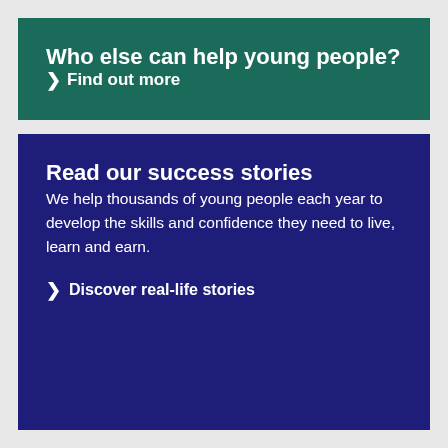Who else can help young people?
❯ Find out more
Read our success stories
We help thousands of young people each year to develop the skills and confidence they need to live, learn and earn.
❯ Discover real-life stories